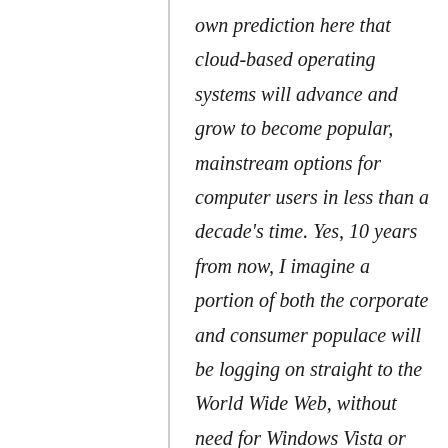own prediction here that cloud-based operating systems will advance and grow to become popular, mainstream options for computer users in less than a decade's time. Yes, 10 years from now, I imagine a portion of both the corporate and consumer populace will be logging on straight to the World Wide Web, without need for Windows Vista or Windows 7 or whathaveyou. If wireless broadband is to become